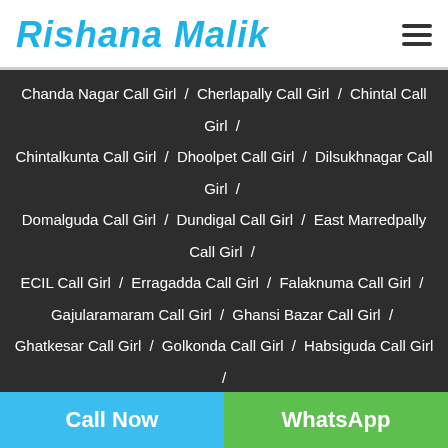Rishana Malik
Chanda Nagar Call Girl / Cherlapally Call Girl / Chintal Call Girl / Chintalkunta Call Girl / Dhoolpet Call Girl / Dilsukhnagar Call Girl / Domalguda Call Girl / Dundigal Call Girl / East Marredpally Call Girl / ECIL Call Girl / Erragadda Call Girl / Falaknuma Call Girl / Gajularamaram Call Girl / Ghansi Bazar Call Girl / Ghatkesar Call Girl / Golkonda Call Girl / Habsiguda Call Girl / Hafeezpet Call Girl / Hakimpet Call Girl / Hastinapuram Call Girl / Hayat Nagar Call Girl / Himayath Nagar Call Girl / Hi Tech City Call Girl / Humayun Nagar Call Girl / Hyderguda Call Girl / Jam Bagh Call Girl / Jawahar Nagar Call Girl / Jeedimetla Call Girl / Kachiguda Call Girl / Kanchan Bagh Call Girl / Kapra Call Girl / Karkhana Call Girl / Karmanghat Call Girl / Karwan Call Girl / Kavadiguda Call Girl / Khairatabad Call Girl / Kushaiguda Call Girl / Komnally Call Girl / Kondapur Call Girl / Kothanet Call Girl
Call Now | WhatsApp